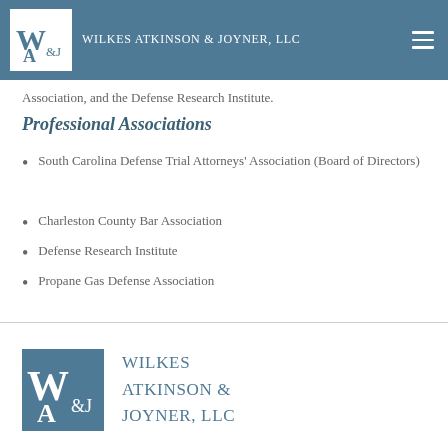Wilkes Atkinson & Joyner, LLC
Association, and the Defense Research Institute.
Professional Associations
South Carolina Defense Trial Attorneys' Association (Board of Directors)
Charleston County Bar Association
Defense Research Institute
Propane Gas Defense Association
[Figure (logo): Wilkes Atkinson & Joyner LLC logo - large teal square with WAJ monogram, followed by firm name in teal text]